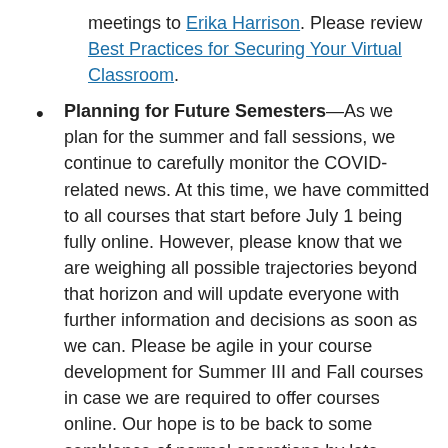meetings to Erika Harrison. Please review Best Practices for Securing Your Virtual Classroom.
Planning for Future Semesters—As we plan for the summer and fall sessions, we continue to carefully monitor the COVID-related news. At this time, we have committed to all courses that start before July 1 being fully online. However, please know that we are weighing all possible trajectories beyond that horizon and will update everyone with further information and decisions as soon as we can. Please be agile in your course development for Summer III and Fall courses in case we are required to offer courses online. Our hope is to be back to some semblance of normal operations by late summer—and certainly by fall—but the events of the past two months have made it clear that the prudent decision is to also have a Plan B in place.
All information from these update messages will also be